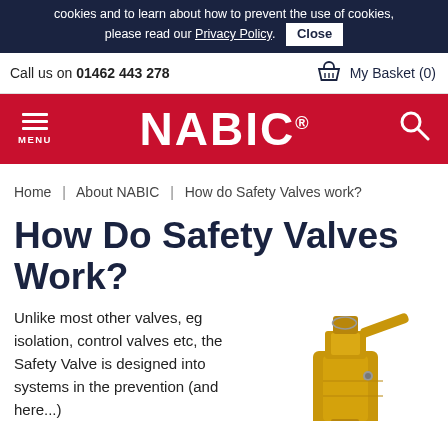cookies and to learn about how to prevent the use of cookies, please read our Privacy Policy. Close
Call us on 01462 443 278
My Basket (0)
NABIC®
Home | About NABIC | How do Safety Valves work?
How Do Safety Valves Work?
Unlike most other valves, eg isolation, control valves etc, the Safety Valve is designed into systems in the prevention (and here...)
[Figure (photo): A brass/gold coloured safety valve component shown in close-up]